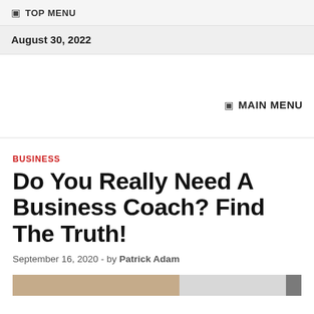TOP MENU
August 30, 2022
MAIN MENU
BUSINESS
Do You Really Need A Business Coach? Find The Truth!
September 16, 2020  -  by Patrick Adam
[Figure (photo): Partial image visible at the bottom of the page, appears to show a photo related to business coaching]